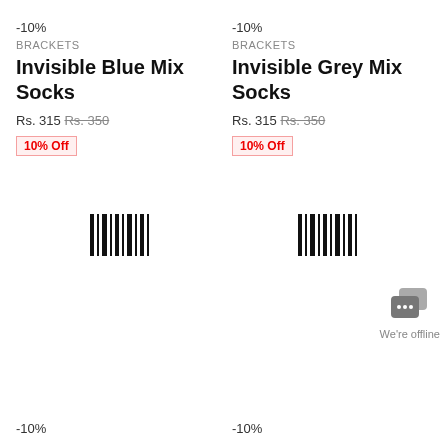-10%
BRACKETS
Invisible Blue Mix Socks
Rs. 315 Rs. 350
10% Off
-10%
BRACKETS
Invisible Grey Mix Socks
Rs. 315 Rs. 350
10% Off
[Figure (other): Barcode icon left]
[Figure (other): Barcode icon right]
[Figure (other): Chat widget offline icon]
We're offline
-10%
-10%